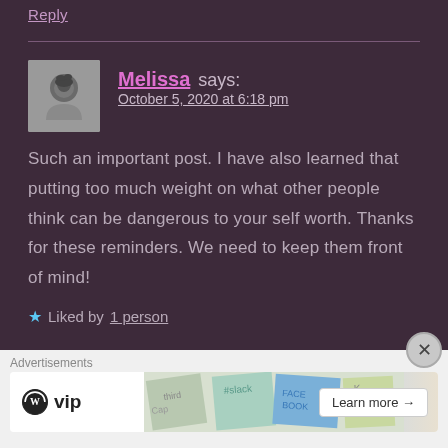Reply
Melissa says:
October 5, 2020 at 6:18 pm
Such an important post. I have also learned that putting too much weight on what other people think can be dangerous to your self worth. Thanks for these reminders. We need to keep them front of mind!
Liked by 1 person
Advertisements
[Figure (screenshot): WordPress VIP advertisement banner with Learn more button]